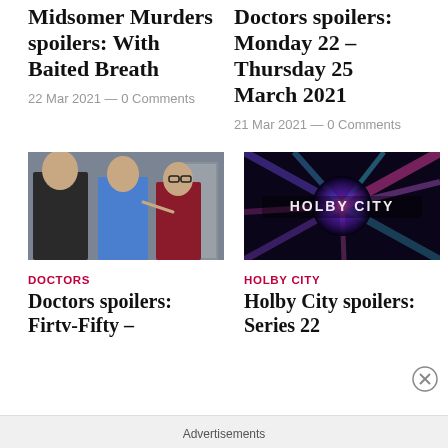Midsomer Murders spoilers: With Baited Breath
22 Mar 2021 — 0 Comments
Doctors spoilers: Monday 22 – Thursday 25 March 2021
21 Mar 2021 — 0 Comments
[Figure (photo): Scene from Doctors TV show with three people in a room]
DOCTORS
Doctors spoilers: Firtv-Fifty –
[Figure (photo): Holby City title card with neon lights and logo text]
HOLBY CITY
Holby City spoilers: Series 22
Advertisements